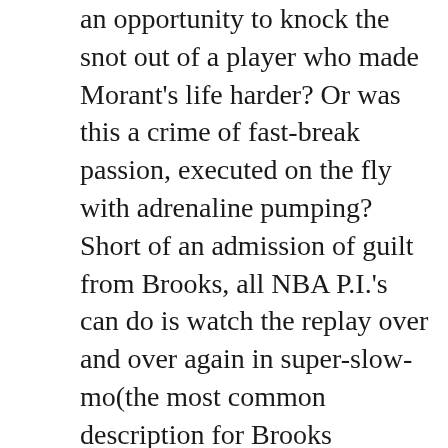an opportunity to knock the snot out of a player who made Morant's life harder? Or was this a crime of fast-break passion, executed on the fly with adrenaline pumping? Short of an admission of guilt from Brooks, all NBA P.I.'s can do is watch the replay over and over again in super-slow-mo(the most common description for Brooks understudy, Kyle Anderson's style of play), fill in the puzzle pieces and search for clues a grand basketball jury could indict on.
However, it's essential to know the backstory and how the loss of Payton will affect this series. Like Will Smith being exhausted by Chris Rock's Jada Pinkett Smith jokes long before the Oscars, tensions were already high. Green spent the past 48 hours explaining his assault on Brandon Clarke via any medium he could find, including TNT's Inside the NBA, which felt like Hannibal Lecter discussing the texture of flesh over a nice Chianti.
Meanwhile, the Grizzlies have been trying to send a message to these Warriors for at least three years now. Last May, the Grizz ended Golden State's season in the play-in game. Their real obsession is with Andre